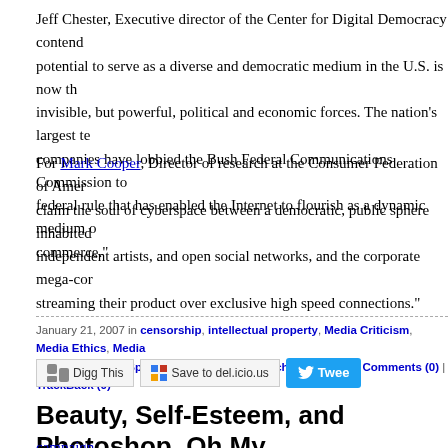Jeff Chester, Executive director of the Center for Digital Democracy contends that the potential to serve as a diverse and democratic medium in the U.S. is now threatened by invisible, but powerful, political and economic forces. The nation's largest telecommunications companies have lobbied the Bush Federal Communications Commission to eliminate the federal rule that has enabled the Internet to flourish as a dynamic medium of culture and commerce."
For Mark Cooper, Director of research at the Consumer Federation of America, we must claim the soul of cyberspace between a democratic, public sphere inhabited by citizens, independent artists, and open social networks, and the corporate mega-corporations streaming their product over exclusive high speed connections."
January 21, 2007 in censorship, intellectual property, Media Criticism, Media Ethics, Media Murdoch and MySpace, technology, Web/Tech | Permalink | Comments (0) | TrackBack (0)
[Figure (infographic): Social sharing buttons: Digg This, Save to del.icio.us, Tweet]
Beauty, Self-Esteem, and Photoshop, Oh My...
[Figure (photo): campaign image link]
The frames above are part of an interesting time lapse video produced for the Dove Beauty, which show the evolution of a model from makeup to Photoshop. A documentary on how advertising constructs an unrealistic ideal for what beauty is should look like. The video. Dove soap is currently underwriting a self-esteem campaign for wom...